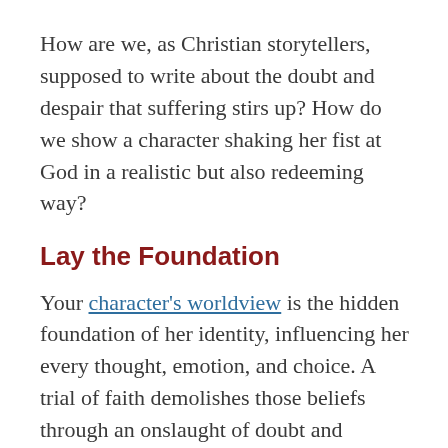How are we, as Christian storytellers, supposed to write about the doubt and despair that suffering stirs up? How do we show a character shaking her fist at God in a realistic but also redeeming way?
Lay the Foundation
Your character's worldview is the hidden foundation of her identity, influencing her every thought, emotion, and choice. A trial of faith demolishes those beliefs through an onslaught of doubt and despair. The possibility of fallacy is scary for anyone because it imprints a question mark on everything they've valued prior to that